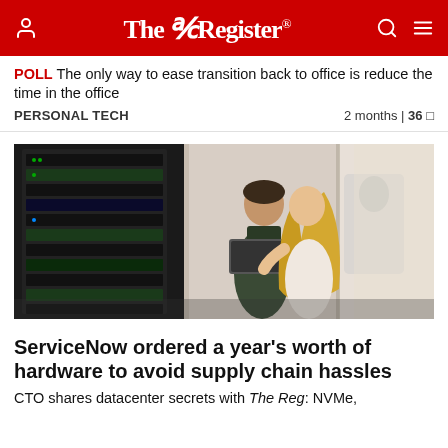The Register®
POLL The only way to ease transition back to office is reduce the time in the office
PERSONAL TECH    2 months | 36
[Figure (photo): Two people in a data center — a man in a green jacket holding a laptop and a woman with long blonde hair — standing in front of server racks]
ServiceNow ordered a year's worth of hardware to avoid supply chain hassles
CTO shares datacenter secrets with The Reg: NVMe,